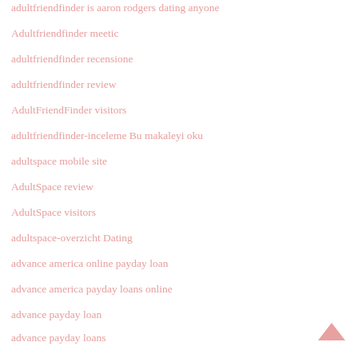adultfriendfinder is aaron rodgers dating anyone
Adultfriendfinder meetic
adultfriendfinder recensione
adultfriendfinder review
AdultFriendFinder visitors
adultfriendfinder-inceleme Bu makaleyi oku
adultspace mobile site
AdultSpace review
AdultSpace visitors
adultspace-overzicht Dating
advance america online payday loan
advance america payday loans online
advance payday loan
advance payday loans
advance payday loans online
[Figure (other): Back to top arrow icon (chevron up) in pink/salmon color]